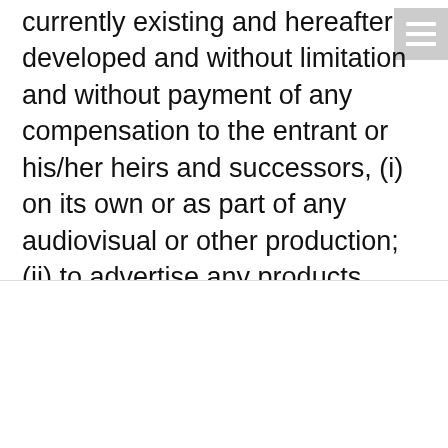currently existing and hereafter developed and without limitation and without payment of any compensation to the entrant or his/her heirs and successors, (i) on its own or as part of any audiovisual or other production; (ii) to advertise any products, programming or services of EYE HORTILUX or for any other advertising, marketing, publicizing and promotional purposes and in any materials related thereto; and/or (iii) for any other purpose whatsoever; and (d) release in perpetuity
We use cookies on our website to give you the most relevant experience by remembering your preferences and repeat visits. By clicking "Accept", you consent to the use of ALL the cookies.
Do not sell my personal information.
Cookie settings
ACCEPT